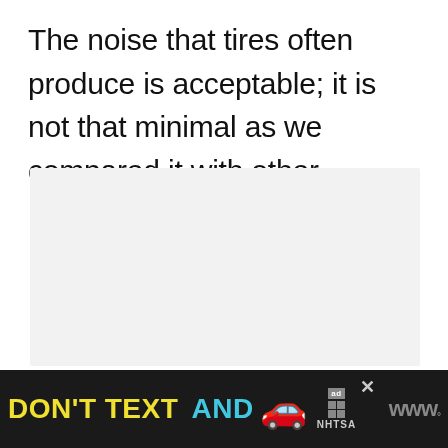The noise that tires often produce is acceptable; it is not that minimal as we compared it with other models Sumitomo.
[Figure (other): A light gray placeholder image block]
[Figure (infographic): Advertisement banner: 'DON'T TEXT AND [car emoji]' with NHTSA ad badge and a weather/news app logo on the right]